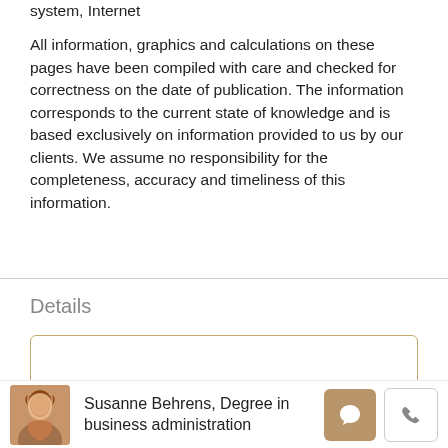system, Internet
All information, graphics and calculations on these pages have been compiled with care and checked for correctness on the date of publication. The information corresponds to the current state of knowledge and is based exclusively on information provided to us by our clients. We assume no responsibility for the completeness, accuracy and timeliness of this information.
Details
Susanne Behrens, Degree in business administration